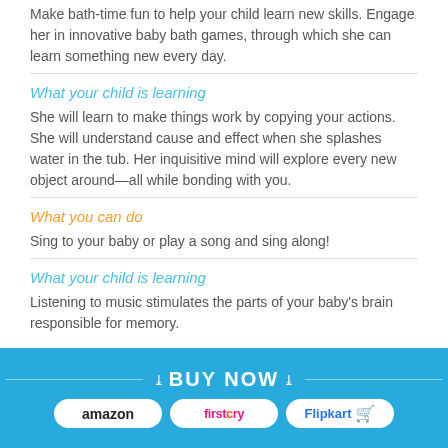Make bath-time fun to help your child learn new skills. Engage her in innovative baby bath games, through which she can learn something new every day.
What your child is learning
She will learn to make things work by copying your actions. She will understand cause and effect when she splashes water in the tub. Her inquisitive mind will explore every new object around—all while bonding with you.
What you can do
Sing to your baby or play a song and sing along!
What your child is learning
Listening to music stimulates the parts of your baby's brain responsible for memory.
BUY NOW — amazon, firstcry, Flipkart